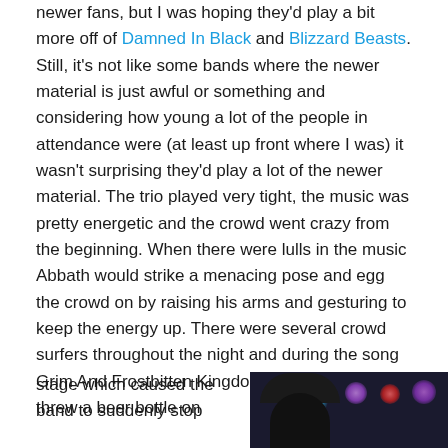newer fans, but I was hoping they'd play a bit more off of Damned In Black and Blizzard Beasts. Still, it's not like some bands where the newer material is just awful or something and considering how young a lot of the people in attendance were (at least up front where I was) it wasn't surprising they'd play a lot of the newer material. The trio played very tight, the music was pretty energetic and the crowd went crazy from the beginning. When there were lulls in the music Abbath would strike a menacing pose and egg the crowd on by raising his arms and gesturing to keep the energy up. There were several crowd surfers throughout the night and during the song Grim And Frostbitten Kingdoms some dipshit threw a beer bottle on stage which caused the band to suddenly stop
[Figure (photo): Concert photo showing a performer on stage with colorful stage lighting including blue, purple, and red lights against a dark background. The performer appears to have long dark hair.]